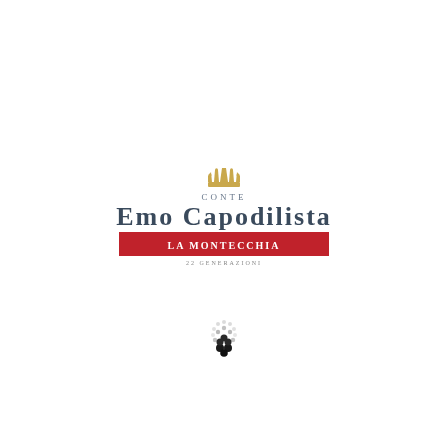[Figure (logo): Conte Emo Capodilista La Montecchia winery logo with crown emblem, red banner, and tagline '22 Generazioni']
[Figure (illustration): Small decorative grape cluster icon made of dots, dark grapes at bottom with lighter dots above arranged in a circular/cluster pattern]